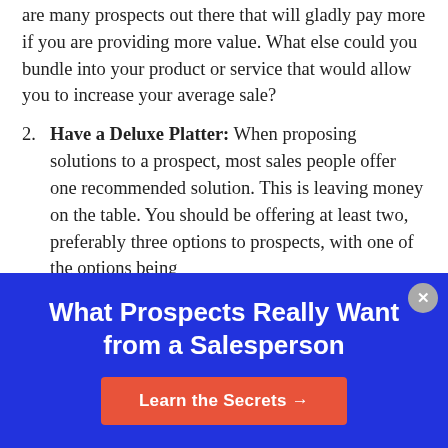are many prospects out there that will gladly pay more if you are providing more value. What else could you bundle into your product or service that would allow you to increase your average sale?
2. Have a Deluxe Platter: When proposing solutions to a prospect, most sales people offer one recommended solution. This is leaving money on the table. You should be offering at least two, preferably three options to prospects, with one of the options being
What Prospects Really Want from a Salesperson
Learn the Secrets →